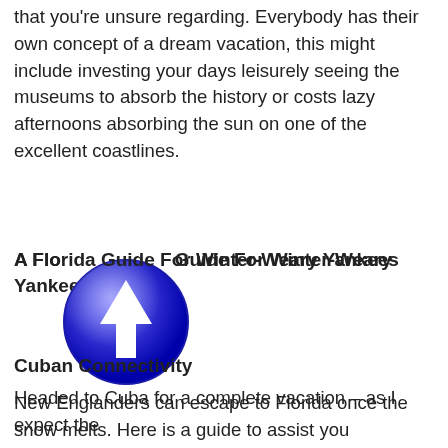that you're unsure regarding. Everybody has their own concept of a dream vacation, this might include investing your days leisurely seeing the museums to absorb the history or costs lazy afternoons absorbing the sun on one of the excellent coastlines.
A Florida Guide For Winter-Weary Yankees
[Figure (illustration): Blue circular icon with white upward arrow in the center, resembling a navigation or upload button.]
New Englanders can escape to Florida once the snow melts. Here is a guide to assist you comprehend the place.
Cuban Connectivity
Headed to Cuba for a complete vacation – as I expect the